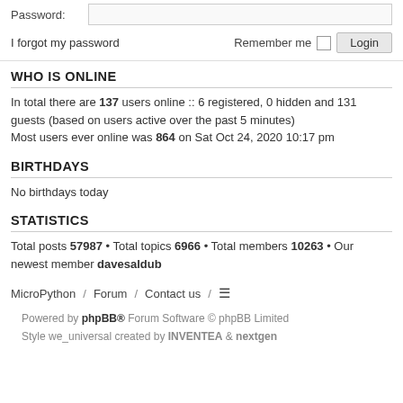Password:
I forgot my password   Remember me  Login
WHO IS ONLINE
In total there are 137 users online :: 6 registered, 0 hidden and 131 guests (based on users active over the past 5 minutes)
Most users ever online was 864 on Sat Oct 24, 2020 10:17 pm
BIRTHDAYS
No birthdays today
STATISTICS
Total posts 57987 • Total topics 6966 • Total members 10263 • Our newest member davesaldub
MicroPython / Forum / Contact us /  ≡
Powered by phpBB® Forum Software © phpBB Limited
Style we_universal created by INVENTEA & nextgen